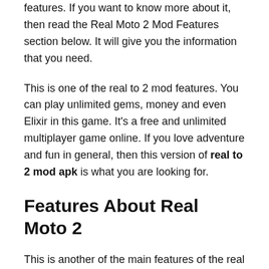features. If you want to know more about it, then read the Real Moto 2 Mod Features section below. It will give you the information that you need.
This is one of the real to 2 mod features. You can play unlimited gems, money and even Elixir in this game. It's a free and unlimited multiplayer game online. If you love adventure and fun in general, then this version of real to 2 mod apk is what you are looking for.
Features About Real Moto 2
This is another of the main features of the real to 2 mods. You can choose from any of the 20 heroes available in this game. This hero can be unlocked after you have passed level 20. This hero is strong and very well